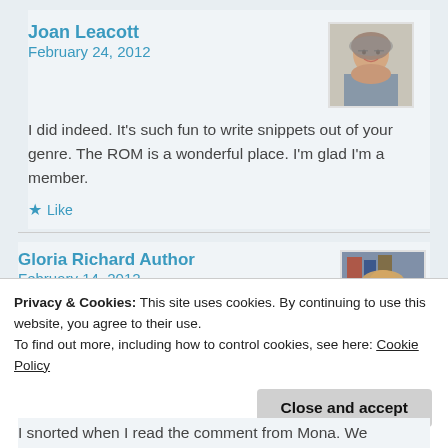Joan Leacott
February 24, 2012
[Figure (photo): Avatar photo of Joan Leacott, elderly woman with short gray hair and glasses, smiling]
I did indeed. It's such fun to write snippets out of your genre. The ROM is a wonderful place. I'm glad I'm a member.
Like
Gloria Richard Author
February 14, 2012
[Figure (photo): Avatar photo of Gloria Richard, woman with blonde hair]
Privacy & Cookies: This site uses cookies. By continuing to use this website, you agree to their use.
To find out more, including how to control cookies, see here: Cookie Policy
Close and accept
I snorted when I read the comment from Mona. We